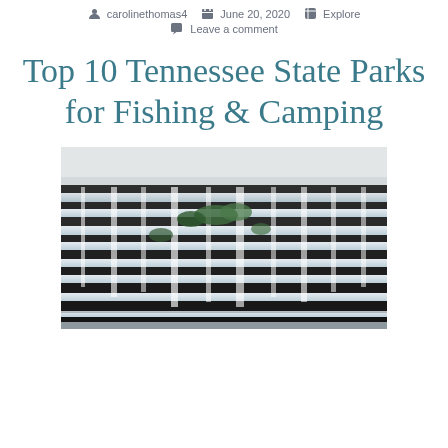carolinethomas4   June 20, 2020   Explore
Leave a comment
Top 10 Tennessee State Parks for Fishing & Camping
[Figure (photo): A wide cascading waterfall with multiple tiers of rushing white water flowing over dark rocky ledges, with green vegetation visible between the rocks.]